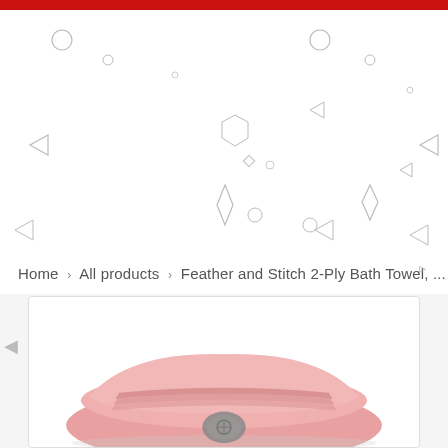Home > All products > Feather and Stitch 2-Ply Bath Towel, ...
[Figure (photo): A folded pink/rose colored bath towel with ribbed border detail and a small brand tag, displayed on a white background inside a rounded-corner card.]